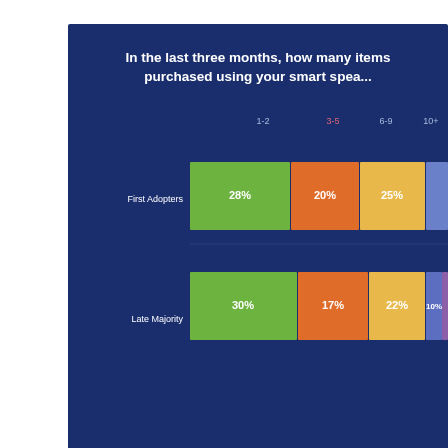[Figure (stacked-bar-chart): Stacked bar chart on dark blue background showing purchase frequency via smart speaker for two groups: First Adopters and Late Majority. Bars are segmented into colored sections (green, orange, yellow, blue/purple) representing different frequency responses.]
Edison Research and NPR logo/attribution
New Smart Speaker Owners Using The Pre-Purchase Product Research
The Smart Audio Report for July 2018 from Edison Research and...